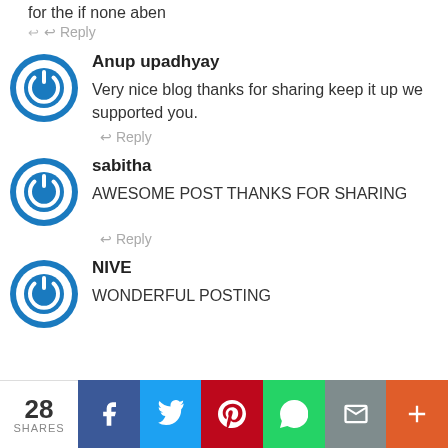for the if none aben
↩ Reply
Anup upadhyay
Very nice blog thanks for sharing keep it up we supported you.
↩ Reply
sabitha
AWESOME POST THANKS FOR SHARING
↩ Reply
NIVE
WONDERFUL POSTING
28 SHARES